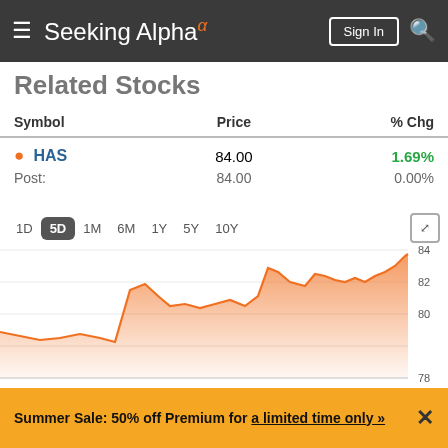Seeking Alpha — Sign In, Search
Related Stocks
| Symbol | Price | % Chg |
| --- | --- | --- |
| HAS | 84.00 | 1.69% |
| Post: | 84.00 | 0.00% |
[Figure (area-chart): HAS 5-Day Chart]
Compare
Summer Sale: 50% off Premium for a limited time only »